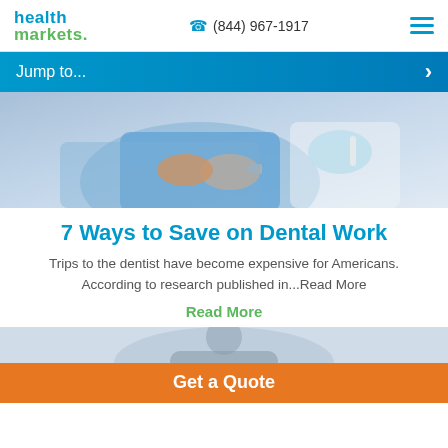health markets. (844) 967-1917
Jump to...
[Figure (photo): Dental patient in chair with dentist in blue gloves performing dental work]
7 Ways to Save on Dental Work
Trips to the dentist have become expensive for Americans. According to research published in...Read More
Read More
[Figure (photo): Partial photo of person at bottom of page]
Get a Quote